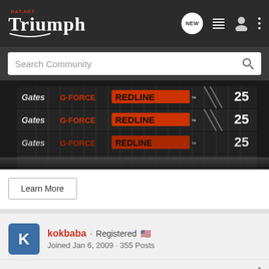Triumph RAT.NET · NEW · Search Community
[Figure (photo): Close-up photo of multiple Gates G-Force Redline drive belts stacked together, showing orange and black branding text. The number 25 is partially visible on the right side.]
Learn More
kokbaba · Registered 🇺🇸
Joined Jan 6, 2009 · 355 Posts
#13 · May 4, 2009